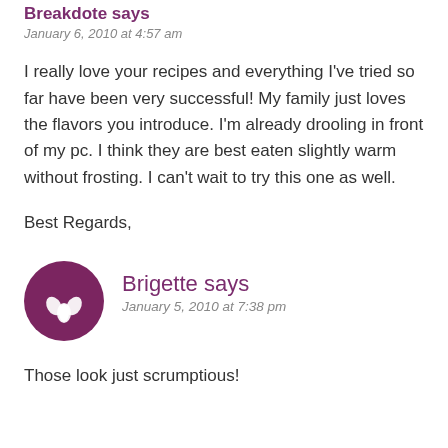Breakdote says
January 6, 2010 at 4:57 am
I really love your recipes and everything I’ve tried so far have been very successful! My family just loves the flavors you introduce. I’m already drooling in front of my pc. I think they are best eaten slightly warm without frosting. I can’t wait to try this one as well.
Best Regards,
[Figure (illustration): Circular purple avatar with a white lotus/leaf icon in the center]
Brigette says
January 5, 2010 at 7:38 pm
Those look just scrumptious!